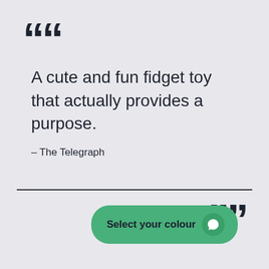““
A cute and fun fidget toy that actually provides a purpose.
– The Telegraph
””
[Figure (other): Green rounded button with text 'Select your colour' and a chat bubble icon]